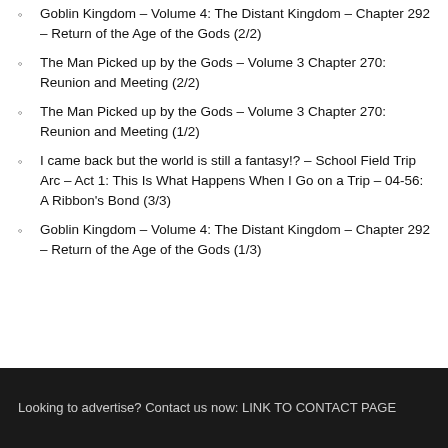Goblin Kingdom – Volume 4: The Distant Kingdom – Chapter 292 – Return of the Age of the Gods (2/2)
The Man Picked up by the Gods – Volume 3 Chapter 270: Reunion and Meeting (2/2)
The Man Picked up by the Gods – Volume 3 Chapter 270: Reunion and Meeting (1/2)
I came back but the world is still a fantasy!? – School Field Trip Arc – Act 1: This Is What Happens When I Go on a Trip – 04-56: A Ribbon's Bond (3/3)
Goblin Kingdom – Volume 4: The Distant Kingdom – Chapter 292 – Return of the Age of the Gods (1/3)
Looking to advertise? Contact us now: LINK TO CONTACT PAGE